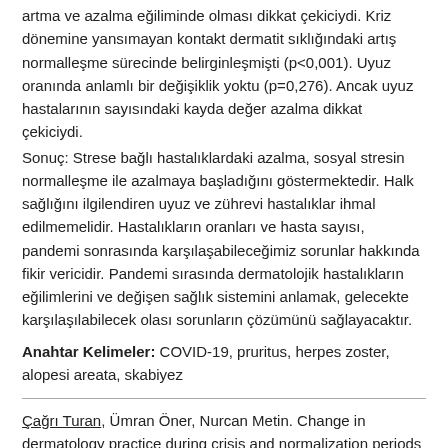artma ve azalma eğiliminde olması dikkat çekiciydi. Kriz dönemine yansımayan kontakt dermatit sıklığındaki artış normalleşme sürecinde belirginleşmişti (p<0,001). Uyuz oranında anlamlı bir değişiklik yoktu (p=0,276). Ancak uyuz hastalarının sayısındaki kayda değer azalma dikkat çekiciydi.
Sonuç: Strese bağlı hastalıklardaki azalma, sosyal stresin normalleşme ile azalmaya başladığını göstermektedir. Halk sağlığını ilgilendiren uyuz ve zührevi hastalıklar ihmal edilmemelidir. Hastalıkların oranları ve hasta sayısı, pandemi sonrasında karşılaşabileceğimiz sorunlar hakkında fikir vericidir. Pandemi sırasında dermatolojik hastalıkların eğilimlerini ve değişen sağlık sistemini anlamak, gelecekte karşılaşılabilecek olası sorunların çözümünü sağlayacaktır.
Anahtar Kelimeler: COVID-19, pruritus, herpes zoster, alopesi areata, skabiyez
Çağrı Turan, Ümran Öner, Nurcan Metin. Change in dermatology practice during crisis and normalization periods after the COVID-19 pandemic and potential problems awaiting us. Turkderm-Turk Arch Dermatol Venereol. 2021; 55(4): 169-177